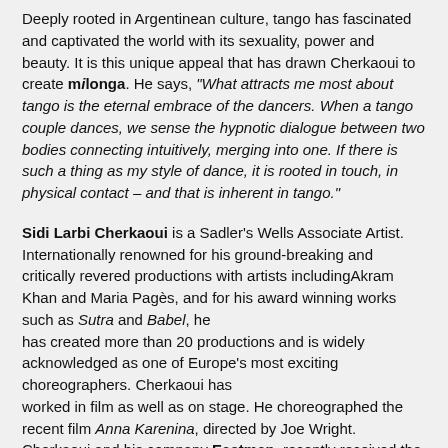Deeply rooted in Argentinean culture, tango has fascinated and captivated the world with its sexuality, power and beauty. It is this unique appeal that has drawn Cherkaoui to create milonga. He says, "What attracts me most about tango is the eternal embrace of the dancers. When a tango couple dances, we sense the hypnotic dialogue between two bodies connecting intuitively, merging into one. If there is such a thing as my style of dance, it is rooted in touch, in physical contact – and that is inherent in tango."
Sidi Larbi Cherkaoui is a Sadler's Wells Associate Artist. Internationally renowned for his ground-breaking and critically revered productions with artists includingAkram Khan and Maria Pagès, and for his award winning works such as Sutra and Babel, he has created more than 20 productions and is widely acknowledged as one of Europe's most exciting choreographers. Cherkaoui has worked in film as well as on stage. He choreographed the recent film Anna Karenina, directed by Joe Wright. Cherkaoui and his company Eastman, recently received the title of